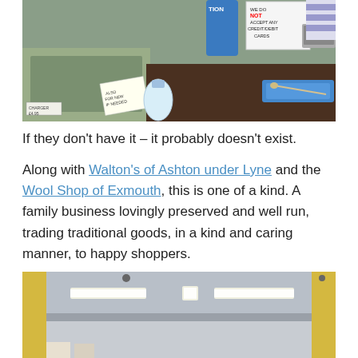[Figure (photo): Interior shop counter photo showing handwritten signs including 'WE DO NOT ACCEPT ANY CREDIT/DEBIT CARDS', hand sanitizer, charger priced at £4.95, and a spoon in a blue case on a dark counter]
If they don't have it – it probably doesn't exist.
Along with Walton's of Ashton under Lyne and the Wool Shop of Exmouth, this is one of a kind. A family business lovingly preserved and well run, trading traditional goods, in a kind and caring manner, to happy shoppers.
[Figure (photo): Interior of a shop showing fluorescent strip ceiling lights on a grey ceiling, with yellow walls visible at the sides]